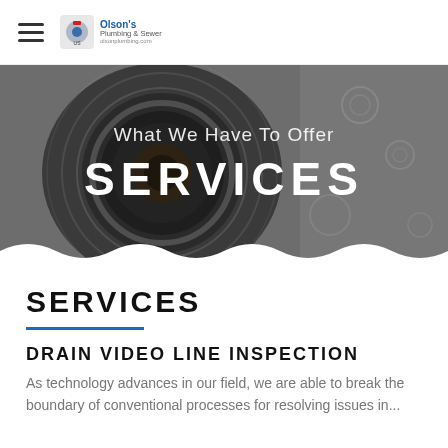Olson's Plumbing & Sewer
[Figure (photo): Close-up grayscale photo of a drain/sink with water ripples, used as hero banner background. Overlaid text reads 'What We Have To Offer' and 'SERVICES'.]
SERVICES
DRAIN VIDEO LINE INSPECTION
As technology advances in our field, we are able to break the boundary of conventional processes for resolving issues in...